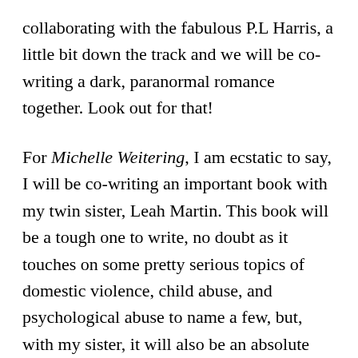collaborating with the fabulous P.L Harris, a little bit down the track and we will be co-writing a dark, paranormal romance together. Look out for that!
For Michelle Weitering, I am ecstatic to say, I will be co-writing an important book with my twin sister, Leah Martin. This book will be a tough one to write, no doubt as it touches on some pretty serious topics of domestic violence, child abuse, and psychological abuse to name a few, but, with my sister, it will also be an absolute ride of laughter.  I am extremely looking forward